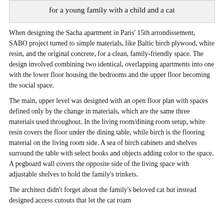for a young family with a child and a cat
When designing the Sacha apartment in Paris' 15th arrondissement, SABO project turned to simple materials, like Baltic birch plywood, white resin, and the original concrete, for a clean, family-friendly space. The design involved combining two identical, overlapping apartments into one with the lower floor housing the bedrooms and the upper floor becoming the social space.
The main, upper level was designed with an open floor plan with spaces defined only by the change in materials, which are the same three materials used throughout. In the living room/dining room setup, white resin covers the floor under the dining table, while birch is the flooring material on the living room side. A sea of birch cabinets and shelves surround the table with select books and objects adding color to the space. A pegboard wall covers the opposite side of the living space with adjustable shelves to hold the family's trinkets.
The architect didn't forget about the family's beloved cat but instead designed access cutouts that let the cat roam